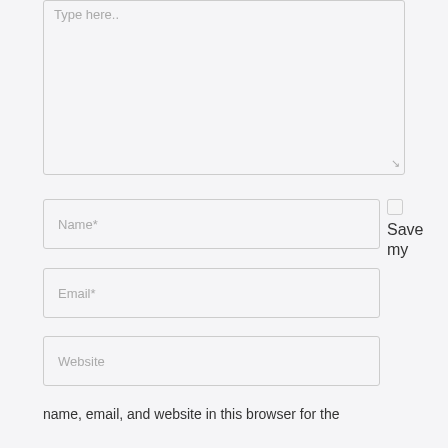Type here..
Name*
Save my
Email*
Website
name, email, and website in this browser for the